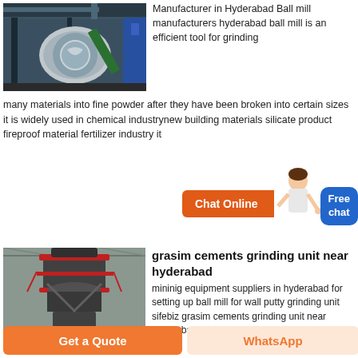[Figure (photo): Industrial ball mill machinery inside a factory/warehouse]
Manufacturer in Hyderabad Ball mill manufacturers hyderabad ball mill is an efficient tool for grinding many materials into fine powder after they have been broken into certain sizes it is widely used in chemical industrynew building materials silicate product fireproof material fertilizer industry it
[Figure (other): Chat Online button with customer service person and Free chat button]
[Figure (photo): Large vertical grinding/crushing machine in an industrial facility]
grasim cements grinding unit near hyderabad
mininig equipment suppliers in hyderabad for setting up ball mill for wall putty grinding unit sifebiz grasim cements grinding unit near hyderabad granite factory
Get a Quote
WhatsApp